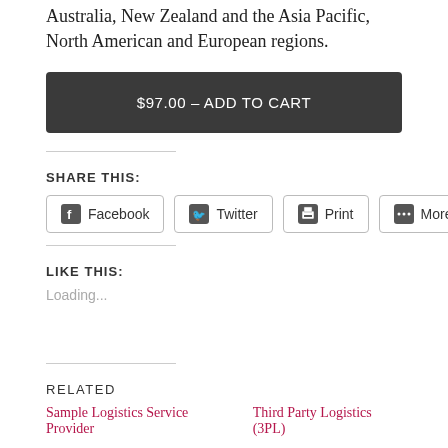Australia, New Zealand and the Asia Pacific, North American and European regions.
$97.00 – ADD TO CART
SHARE THIS:
Facebook  Twitter  Print  More
LIKE THIS:
Loading...
RELATED
Sample Logistics Service Provider    Third Party Logistics (3PL)